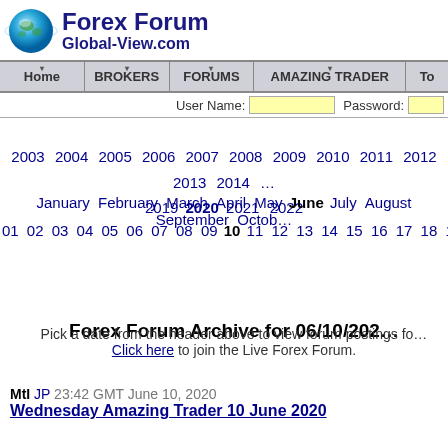Forex Forum Global-View.com
Home | BROKERS | FORUMS | AMAZING TRADER | To...
User Name: [input] Password: [input]
2003 2004 2005 2006 2007 2008 2009 2010 2011 2012 2013 2014 ... 2019 2020 2021 2022
January February March April May June July August September Octob...
01 02 03 04 05 06 07 08 09 10 11 12 13 14 15 16 17 18 19 20 21 22 23...
Forex Forum Archive for 06/10/2020
Pick a date from the header above to view forum postings for that date. Click here to join the Live Forex Forum.
MtI JP 23:42 GMT June 10, 2020
Wednesday Amazing Trader 10 June 2020